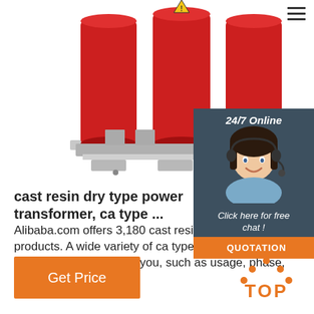[Figure (photo): Three large red cast resin dry type power transformers mounted on a metal frame, with a yellow warning triangle label on top center. Industrial product photo on white background.]
24/7 Online
[Figure (photo): Customer service agent: smiling woman with dark hair wearing a headset, in a light blue shirt, dark background.]
Click here for free chat !
QUOTATION
cast resin dry type power transformer, ca type ...
Alibaba.com offers 3,180 cast resin dry ty transformer products. A wide variety of ca type power transformer options are available to you, such as usage, phase, and coil structure.
Get Price
[Figure (illustration): Orange TOP icon with dots above forming an arch shape, indicating scroll to top button.]